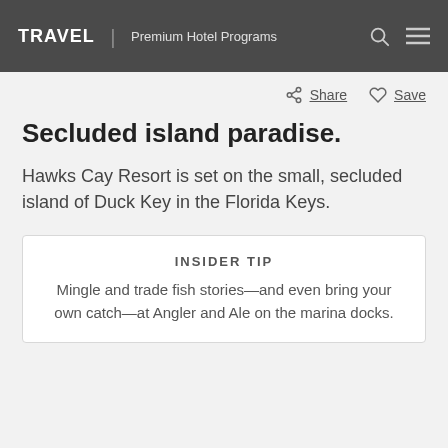TRAVEL | Premium Hotel Programs
Share  Save
Secluded island paradise.
Hawks Cay Resort is set on the small, secluded island of Duck Key in the Florida Keys.
INSIDER TIP
Mingle and trade fish stories—and even bring your own catch—at Angler and Ale on the marina docks.